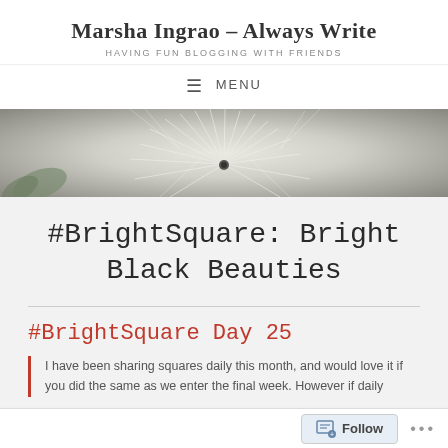Marsha Ingrao – Always Write
HAVING FUN BLOGGING WITH FRIENDS
≡ MENU
[Figure (photo): Close-up macro photograph of dandelion seeds with white wispy filaments against a blurred background]
#BrightSquare: Bright Black Beauties
#BrightSquare Day 25
I have been sharing squares daily this month, and would love it if you did the same as we enter the final week. However if daily
Follow